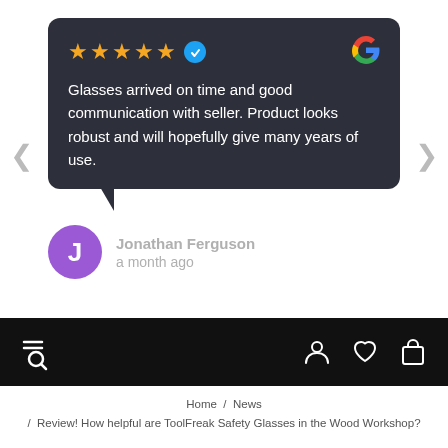[Figure (screenshot): Google review card with 5 orange stars and a blue verified badge, dark background, showing review text and Google logo]
Glasses arrived on time and good communication with seller. Product looks robust and will hopefully give many years of use.
Jonathan Ferguson
a month ago
[Figure (screenshot): Website navigation bar with hamburger+search icon on the left and account, wishlist, cart icons on the right, black background]
Home / News / Review! How helpful are ToolFreak Safety Glasses in the Wood Workshop?
REVIEW! HOW HELPFUL ARE